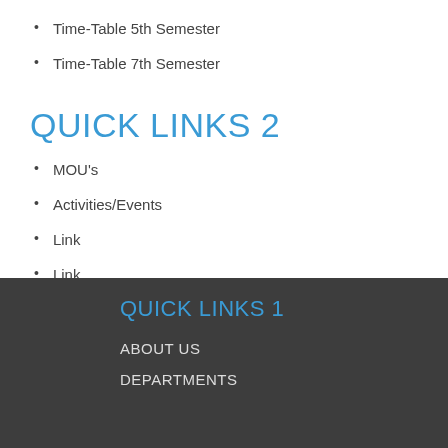Time-Table 5th Semester
Time-Table 7th Semester
QUICK LINKS 2
MOU's
Activities/Events
Link
Link
QUICK LINKS 1
ABOUT US
DEPARTMENTS